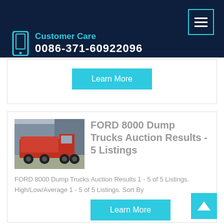Customer Care 0086-371-60922096
[Figure (screenshot): Learn More button (cyan/teal) inside a card]
[Figure (photo): Red dump truck parked in front of a building]
FORD 8000 Dump Trucks Auction Results - 5 Listings
FORD 8000 Dump Trucks Auction Results 1 - 5 of 5 Listings. High/Low/Average 1 - 5 of 5 Listings. Sort By
[Figure (screenshot): Learn More button (cyan/teal) inside second card]